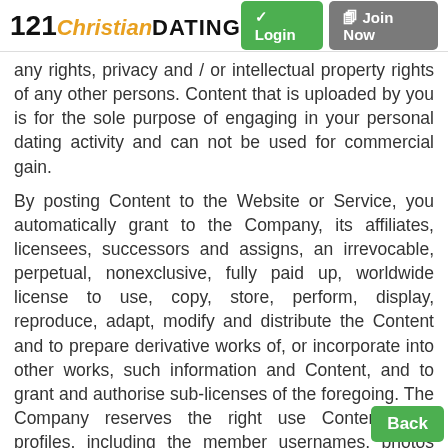[Figure (logo): 121Christian Dating website logo with Login and Join Now buttons in the header]
any rights, privacy and / or intellectual property rights of any other persons. Content that is uploaded by you is for the sole purpose of engaging in your personal dating activity and can not be used for commercial gain.
By posting Content to the Website or Service, you automatically grant to the Company, its affiliates, licensees, successors and assigns, an irrevocable, perpetual, nonexclusive, fully paid up, worldwide license to use, copy, store, perform, display, reproduce, adapt, modify and distribute the Content and to prepare derivative works of, or incorporate into other works, such information and Content, and to grant and authorise sub-licenses of the foregoing. The Company reserves the right use Content from profiles, including the member usernames, photos and descriptions